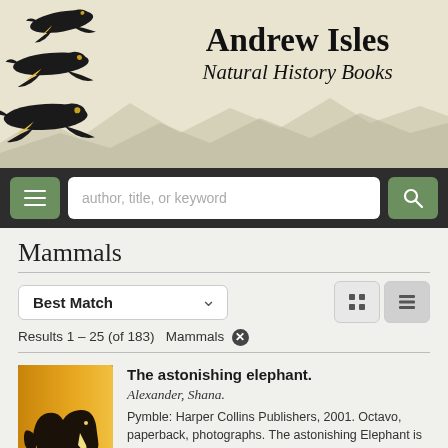[Figure (screenshot): Andrew Isles Natural History Books website header with flying black cockatoos on the left and site title text on the right, with mountain silhouette background]
Andrew Isles Natural History Books
[Figure (screenshot): Navigation bar with hamburger menu button, search field with placeholder 'author, title, or keyword', and search button]
Mammals
Best Match dropdown and grid/list view toggle buttons
Results 1 - 25 (of 183) Mammals ✕
The astonishing elephant.
Alexander, Shana.
Pymble: Harper Collins Publishers, 2001. Octavo, paperback, photographs. The astonishing Elephant is an unabashed